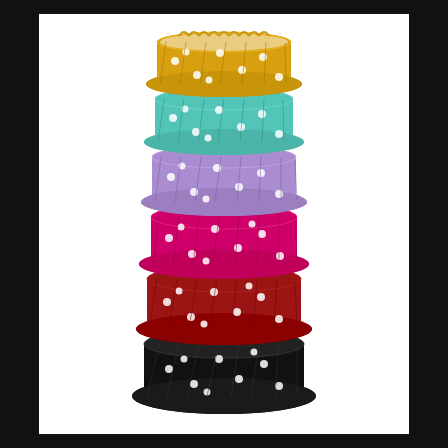[Figure (photo): A stack of polka-dot cupcake liners/baking cups in multiple colors stacked on top of each other. From top to bottom: yellow/gold with white dots, teal/turquoise with white dots, lavender/purple with white dots, hot pink/magenta with white dots, dark red/burgundy with white dots, and black with white dots. The stack is photographed against a white background, with the overall image set against a black border.]